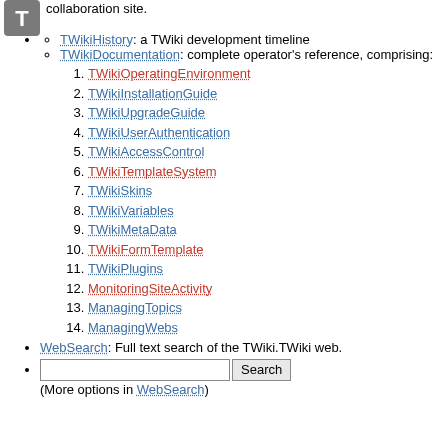[Figure (logo): TWiki logo icon, grey square with white T letter]
collaboration site.
TWikiHistory: a TWiki development timeline
TWikiDocumentation: complete operator's reference, comprising:
1. TWikiOperatingEnvironment
2. TWikiInstallationGuide
3. TWikiUpgradeGuide
4. TWikiUserAuthentication
5. TWikiAccessControl
6. TWikiTemplateSystem
7. TWikiSkins
8. TWikiVariables
9. TWikiMetaData
10. TWikiFormTemplate
11. TWikiPlugins
12. MonitoringSiteActivity
13. ManagingTopics
14. ManagingWebs
WebSearch: Full text search of the TWiki.TWiki web.
(More options in WebSearch)